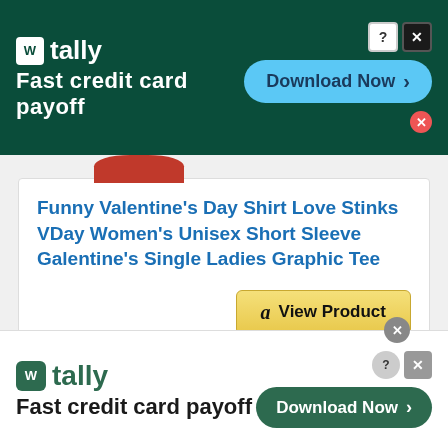[Figure (screenshot): Top advertisement banner for Tally - Fast credit card payoff app with Download Now button on dark green background]
Funny Valentine's Day Shirt Love Stinks VDay Women's Unisex Short Sleeve Galentine's Single Ladies Graphic Tee
[Figure (screenshot): Amazon View Product button with Amazon logo]
BESTSELLER NO. 8
[Figure (screenshot): Bottom advertisement banner for Tally - Fast credit card payoff app with Download Now button on white background]